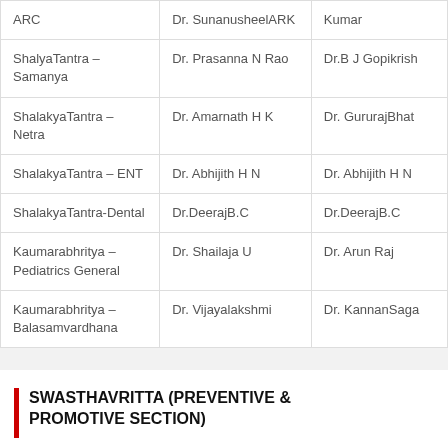| ARC | Dr. SunanusheelARK | Kumar |
| ShalyaTantra – Samanya | Dr. Prasanna N Rao | Dr.B J Gopikrish |
| ShalakyaTantra – Netra | Dr. Amarnath H K | Dr. GururajBhat |
| ShalakyaTantra – ENT | Dr. Abhijith H N | Dr. Abhijith H N |
| ShalakyaTantra-Dental | Dr.DeerajB.C | Dr.DeerajB.C |
| Kaumarabhritya – Pediatrics General | Dr. Shailaja U | Dr. Arun Raj |
| Kaumarabhritya – Balasamvardhana | Dr. Vijayalakshmi | Dr. KannanSaga |
SWASTHAVRITTA (PREVENTIVE & PROMOTIVE SECTION)